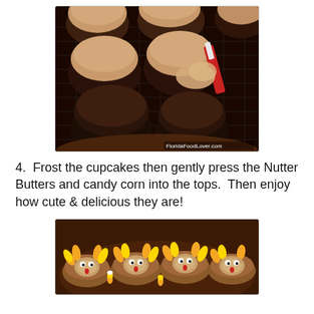[Figure (photo): Chocolate cupcakes being frosted with peanut butter frosting on a wire cooling rack, with a red spatula applying frosting. Watermark: FloridaFoodLover.com]
4.  Frost the cupcakes then gently press the Nutter Butters and candy corn into the tops.  Then enjoy how cute & delicious they are!
[Figure (photo): Turkey-decorated cupcakes with Nutter Butter cookies, candy corn, and googly eyes arranged to look like turkeys on chocolate frosted cupcakes.]